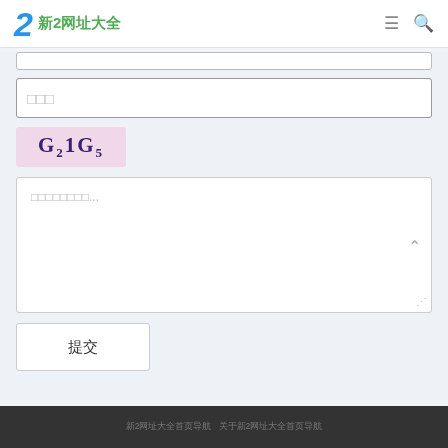新2网址大全
[Figure (screenshot): CAPTCHA image showing G21G5 text on pink background]
□□□
□□□□□□□□...
提交
新2网址大全首页导航  关于新2网址大全首页导航